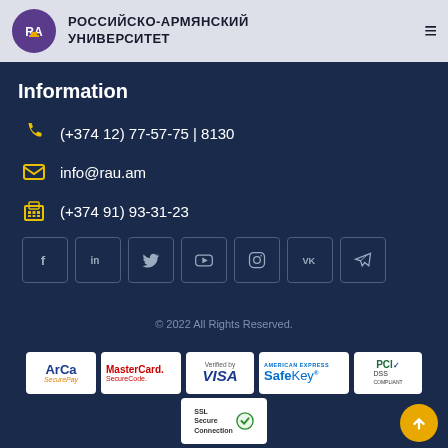РОССИЙСКО-АРМЯНСКИЙ УНИВЕРСИТЕТ
Information
(+374 12) 77-57-75 | 8130
info@rau.am
(+374 91) 93-31-23
[Figure (infographic): Social media icons: Facebook, LinkedIn, Twitter, YouTube, Instagram, VK, Telegram]
© 2022 All Rights Reserved.
[Figure (infographic): Payment security logos: ArCa SecurePay, MasterCard SecureCode, Verified by VISA, American Express SafeKey, PCI DSS, SSL Secure Connection]